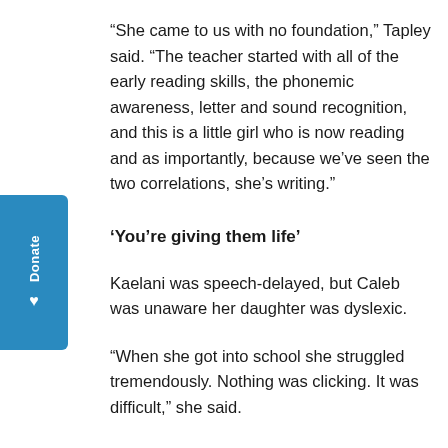“She came to us with no foundation,” Tapley said. “The teacher started with all of the early reading skills, the phonemic awareness, letter and sound recognition, and this is a little girl who is now reading and as importantly, because we’ve seen the two correlations, she’s writing.”
‘You’re giving them life’
Kaelani was speech-delayed, but Caleb was unaware her daughter was dyslexic.
“When she got into school she struggled tremendously. Nothing was clicking. It was difficult,” she said.